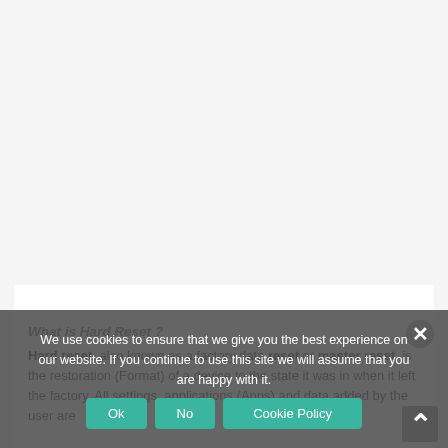What is Hard Reset ?
Hard reset, also known as a factory data reset or master reset, is the restoration (Format) of a device to the state it was in when it left the factory. All settings, applications (Apps) and data added by the user are
We use cookies to ensure that we give you the best experience on our website. If you continue to use this site we will assume that you are happy with it.